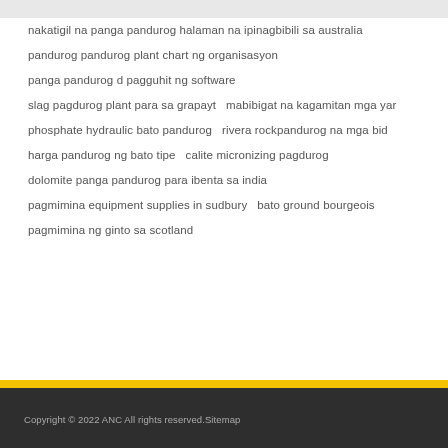nakatigil na panga pandurog halaman na ipinagbibili sa australia
pandurog pandurog plant chart ng organisasyon
panga pandurog d pagguhit ng software
slag pagdurog plant para sa grapayt   mabibigat na kagamitan mga yard
phosphate hydraulic bato pandurog   rivera rockpandurog na mga bid
harga pandurog ng bato tipe   calite micronizing pagdurog
dolomite panga pandurog para ibenta sa india
pagmimina equipment supplies in sudbury   bato ground bourgeois
pagmimina ng ginto sa scotland
Copyright © 2022 ANC All rights reserved.Sitemap